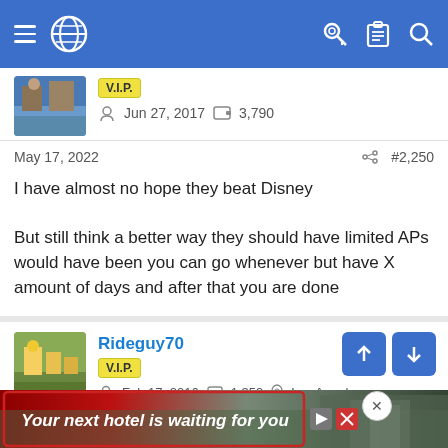Navigation bar with menu, globe icon, key, clipboard, and search icons
[Figure (screenshot): User avatar image (castle/landscape photo)]
V.I.P.
Jun 27, 2017  3,790
May 17, 2022  #2,250
I have almost no hope they beat Disney

But still think a better way they should have limited APs would have been you can go whenever but have X amount of days and after that you are done
Rideguy70
V.I.P.
Feb 17, 2016  1,359  Los Angeles
May 17, 2022  #2,251
I agree. I
[Figure (screenshot): Advertisement banner: Your next hotel is waiting for you]